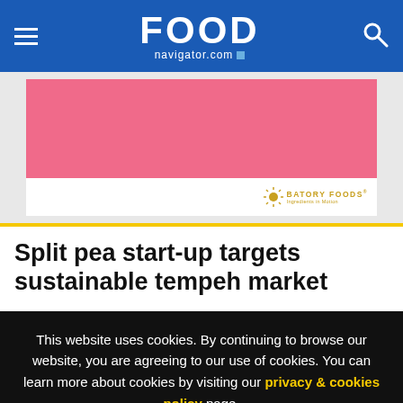FOOD navigator.com
[Figure (photo): Pink advertisement banner for Batory Foods with pink background and Batory Foods logo at the bottom right]
Split pea start-up targets sustainable tempeh market
This website uses cookies. By continuing to browse our website, you are agreeing to our use of cookies. You can learn more about cookies by visiting our privacy & cookies policy page.